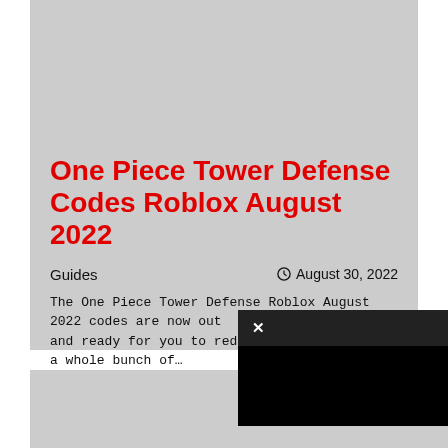One Piece Tower Defense Codes Roblox August 2022
Guides
August 30, 2022
The One Piece Tower Defense Roblox August 2022 codes are now out and ready for you to redeem them. There are a whole bunch of…
[Figure (screenshot): A black video/media player popup with a close (X) button in the upper-left corner, overlapping content below the article card.]